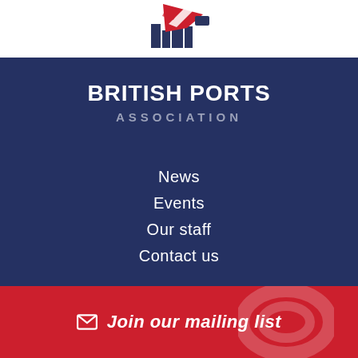[Figure (logo): British Ports Association logo — ship/flag illustration in red, white and blue at the top of the page]
BRITISH PORTS ASSOCIATION
News
Events
Our staff
Contact us
[Figure (illustration): Twitter bird icon in a circular button]
© Copyright 2022 British Ports Association  |  Privacy Policy  |  Cookies  |  Site by Redwire
Join our mailing list